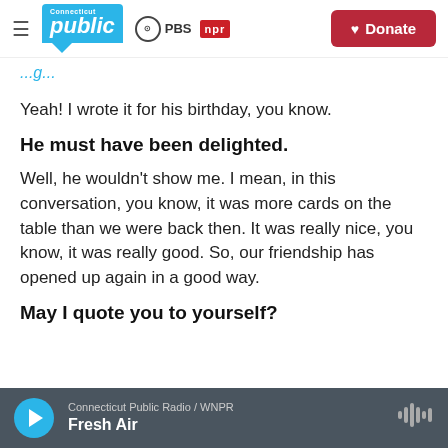Connecticut Public | PBS | NPR | Donate
Yeah! I wrote it for his birthday, you know.
He must have been delighted.
Well, he wouldn't show me. I mean, in this conversation, you know, it was more cards on the table than we were back then. It was really nice, you know, it was really good. So, our friendship has opened up again in a good way.
May I quote you to yourself?
Connecticut Public Radio / WNPR — Fresh Air